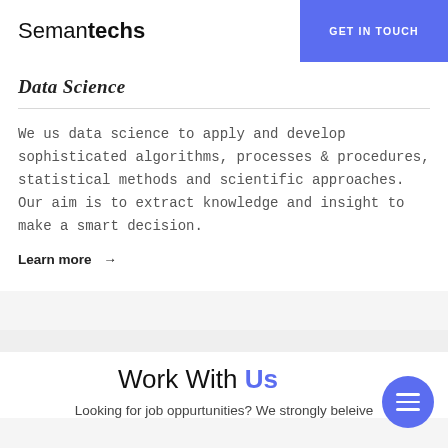Semantechs
GET IN TOUCH
Data Science
We us data science to apply and develop sophisticated algorithms, processes & procedures, statistical methods and scientific approaches. Our aim is to extract knowledge and insight to make a smart decision.
Learn more →
Work With Us
Looking for job oppurtunities? We strongly beleive